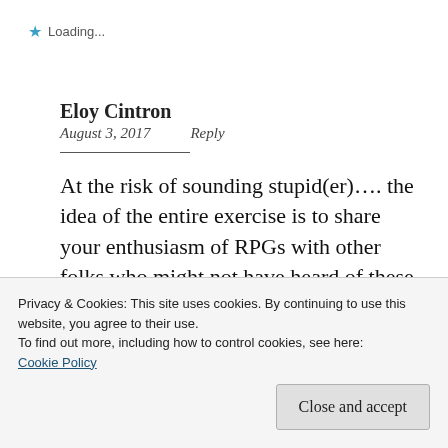★ Loading...
Eloy Cintron
August 3, 2017    Reply
At the risk of sounding stupid(er)…. the idea of the entire exercise is to share your enthusiasm of RPGs with other folks who might not have heard of these games, right? What's Jason
Privacy & Cookies: This site uses cookies. By continuing to use this website, you agree to their use.
To find out more, including how to control cookies, see here:
Cookie Policy
Close and accept